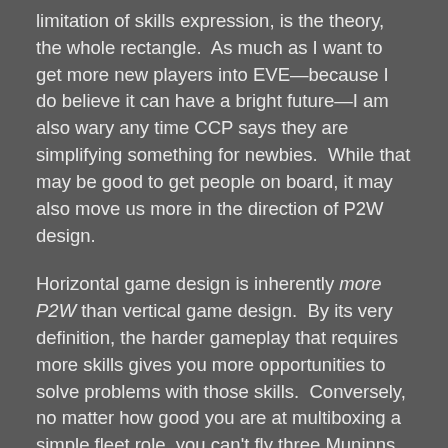limitation of skills expression, is the theory, the whole rectangle.  As much as I want to get more new players into EVE—because I do believe it can have a bright future—I am also wary any time CCP says they are simplifying something for newbies.  While that may be good to get people on board, it may also move us more in the direction of P2W design.
Horizontal game design is inherently more P2W than vertical game design.  By its very definition, the harder gameplay that requires more skills gives you more opportunities to solve problems with those skills.  Conversely, no matter how good you are at multiboxing a simple fleet role, you can't fly three Muninns at once if you aren't paying to subscribe them.  While I love the variety of playstyles in EVE and respect anyone who